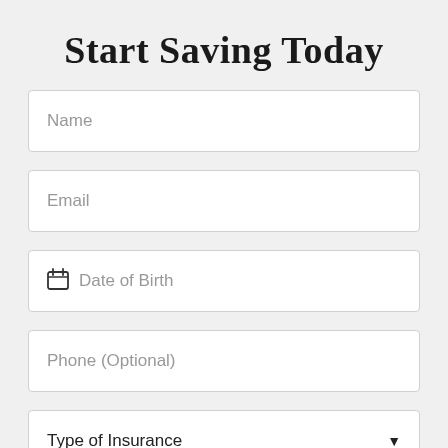Start Saving Today
Name
Email
Date of Birth
Phone (Optional)
Type of Insurance